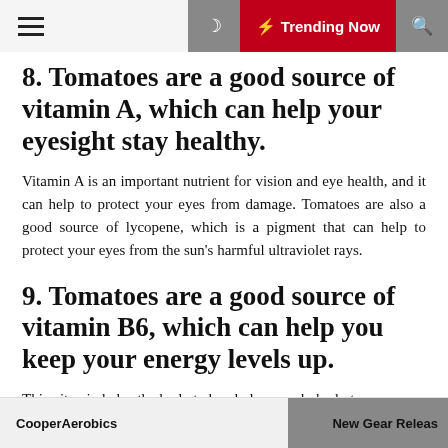☰ ☽ ⚡ Trending Now 🔍
8. Tomatoes are a good source of vitamin A, which can help your eyesight stay healthy.
Vitamin A is an important nutrient for vision and eye health, and it can help to protect your eyes from damage. Tomatoes are also a good source of lycopene, which is a pigment that can help to protect your eyes from the sun's harmful ultraviolet rays.
9. Tomatoes are a good source of vitamin B6, which can help you keep your energy levels up.
This vitamin helps the body to break down carbohydrates
CooperAerobics    New Gear Releas